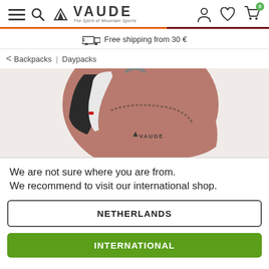VAUDE – The Spirit of Mountain Sports | Navigation icons: account, wishlist, cart (0)
Free shipping from 30 €
< Backpacks | Daypacks
[Figure (photo): Close-up product photo of a dusty rose/terracotta VAUDE backpack with shoulder straps visible and VAUDE logo on the front]
We are not sure where you are from. We recommend to visit our international shop.
NETHERLANDS
INTERNATIONAL